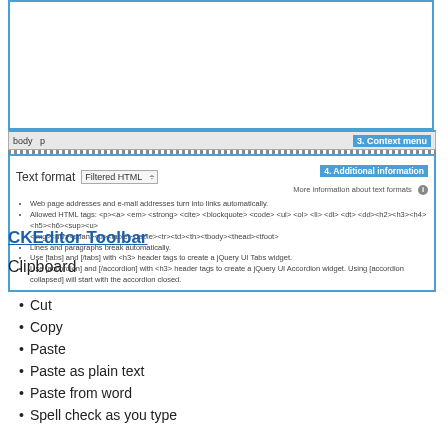[Figure (screenshot): Screenshot showing a CKEditor interface with a blue-bordered editing area, a context/breadcrumb bar showing 'body p' and a '3. Context menu' link, and a format panel showing 'Text format' with 'Filtered HTML' dropdown and '4. Additional information' link, listing HTML format rules as bullet points.]
CKEditor Toolbar
Clipboard
Cut
Copy
Paste
Paste as plain text
Paste from word
Spell check as you type